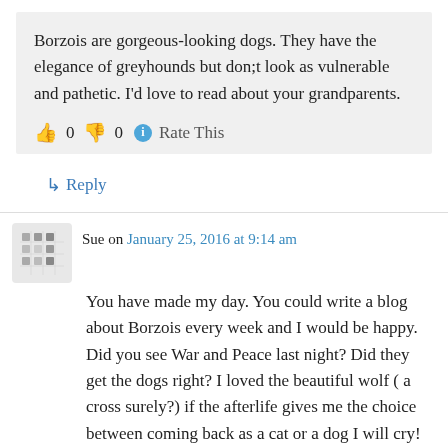Borzois are gorgeous-looking dogs. They have the elegance of greyhounds but don;t look as vulnerable and pathetic. I'd love to read about your grandparents.
👍 0 👎 0 ℹ Rate This
↳ Reply
Sue on January 25, 2016 at 9:14 am
You have made my day. You could write a blog about Borzois every week and I would be happy. Did you see War and Peace last night? Did they get the dogs right? I loved the beautiful wolf ( a cross surely?) if the afterlife gives me the choice between coming back as a cat or a dog I will cry!